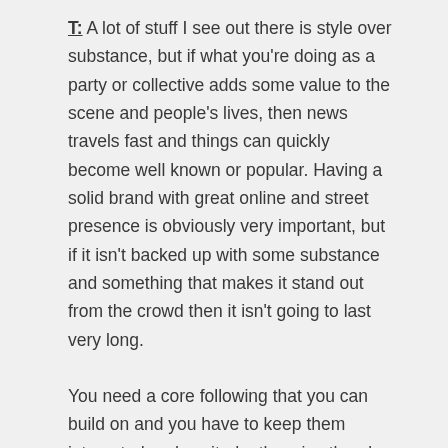T: A lot of stuff I see out there is style over substance, but if what you're doing as a party or collective adds some value to the scene and people's lives, then news travels fast and things can quickly become well known or popular. Having a solid brand with great online and street presence is obviously very important, but if it isn't backed up with some substance and something that makes it stand out from the crowd then it isn't going to last very long.
You need a core following that you can build on and you have to keep them interested and excited, otherwise there's twenty other promoters out there trying to snatch their money and attention. It's a tough game these days with so much competition, so promoters have to be really on the ball and cover all bases, on and